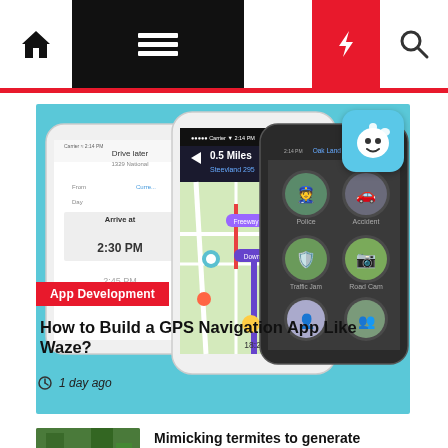[Figure (screenshot): Website navigation bar with home icon, hamburger menu on black background, moon icon, red lightning bolt icon, and search icon]
[Figure (screenshot): App Development article card showing Waze GPS navigation app screenshots on a blue background, with Waze logo in top right corner, showing map navigation screens on smartphones]
App Development
How to Build a GPS Navigation App Like Waze?
1 day ago
[Figure (photo): Thumbnail photo of trees/nature scene for a second article]
Mimicking termites to generate